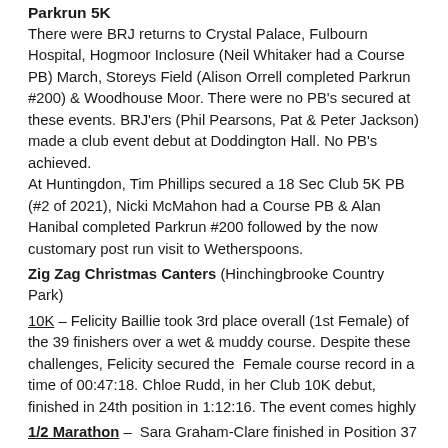Parkrun 5K
There were BRJ returns to Crystal Palace, Fulbourn Hospital, Hogmoor Inclosure (Neil Whitaker had a Course PB) March, Storeys Field (Alison Orrell completed Parkrun #200) & Woodhouse Moor. There were no PB's secured at these events. BRJ'ers (Phil Pearsons, Pat & Peter Jackson) made a club event debut at Doddington Hall. No PB's achieved.
At Huntingdon, Tim Phillips secured a 18 Sec Club 5K PB (#2 of 2021), Nicki McMahon had a Course PB & Alan Hanibal completed Parkrun #200 followed by the now customary post run visit to Wetherspoons.
Zig Zag Christmas Canters (Hinchingbrooke Country Park)
10K – Felicity Baillie took 3rd place overall (1st Female) of the 39 finishers over a wet & muddy course. Despite these challenges, Felicity secured the  Female course record in a time of 00:47:18. Chloe Rudd, in her Club 10K debut, finished in 24th position in 1:12:16. The event comes highly
1/2 Marathon –  Sara Graham-Clare finished in Position 37 in 2:49:59
14th December
RUNNINGParkrun 5K
There were BRJ returns to Ashton Court, Lincoln, March &